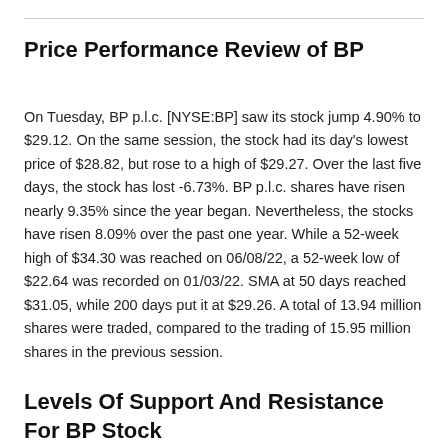Price Performance Review of BP
On Tuesday, BP p.l.c. [NYSE:BP] saw its stock jump 4.90% to $29.12. On the same session, the stock had its day's lowest price of $28.82, but rose to a high of $29.27. Over the last five days, the stock has lost -6.73%. BP p.l.c. shares have risen nearly 9.35% since the year began. Nevertheless, the stocks have risen 8.09% over the past one year. While a 52-week high of $34.30 was reached on 06/08/22, a 52-week low of $22.64 was recorded on 01/03/22. SMA at 50 days reached $31.05, while 200 days put it at $29.26. A total of 13.94 million shares were traded, compared to the trading of 15.95 million shares in the previous session.
Levels Of Support And Resistance For BP Stock